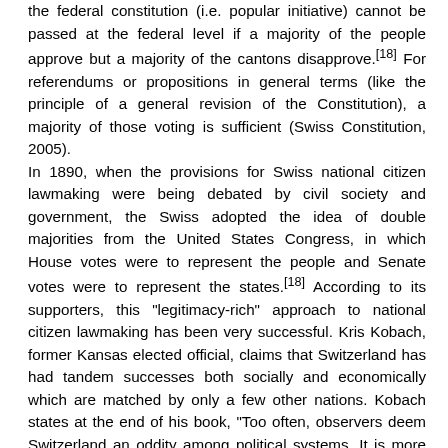the federal constitution (i.e. popular initiative) cannot be passed at the federal level if a majority of the people approve but a majority of the cantons disapprove.[18] For referendums or propositions in general terms (like the principle of a general revision of the Constitution), a majority of those voting is sufficient (Swiss Constitution, 2005). In 1890, when the provisions for Swiss national citizen lawmaking were being debated by civil society and government, the Swiss adopted the idea of double majorities from the United States Congress, in which House votes were to represent the people and Senate votes were to represent the states.[18] According to its supporters, this "legitimacy-rich" approach to national citizen lawmaking has been very successful. Kris Kobach, former Kansas elected official, claims that Switzerland has had tandem successes both socially and economically which are matched by only a few other nations. Kobach states at the end of his book, "Too often, observers deem Switzerland an oddity among political systems. It is more appropriate to regard it as a pioneer." Finally, the Swiss political system, including its direct democratic devices in a multi-level governance context, becomes increasingly